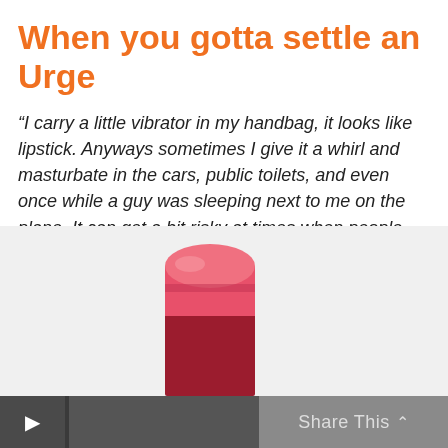When you gotta settle an Urge
“I carry a little vibrator in my handbag, it looks like lipstick. Anyways sometimes I give it a whirl and masturbate in the cars, public toilets, and even once while a guy was sleeping next to me on the plane. It can get a bit risky at times when people are around, but it’s such a turn on.”
Via Dirty Little Secrets
[Figure (photo): Partial image of a lipstick or lipstick-shaped vibrator with a pink/red top visible at the bottom of the page]
Share This